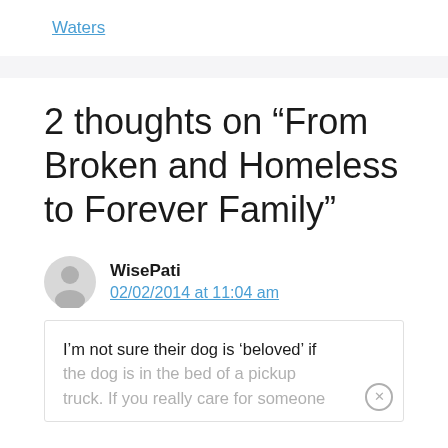Waters
2 thoughts on “From Broken and Homeless to Forever Family”
WisePati
02/02/2014 at 11:04 am
I’m not sure their dog is ‘beloved’ if the dog is in the bed of a pickup truck. If you really care for someone